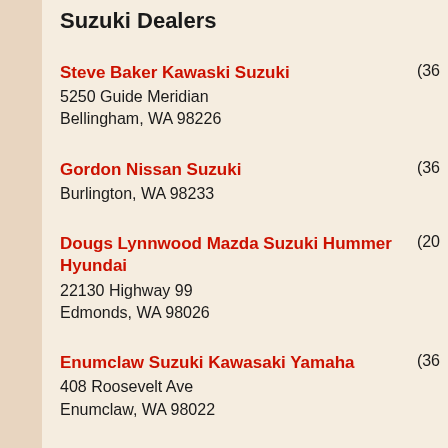Suzuki Dealers
Steve Baker Kawaski Suzuki
5250 Guide Meridian
Bellingham, WA 98226
(36…
Gordon Nissan Suzuki
Burlington, WA 98233
(36…
Dougs Lynnwood Mazda Suzuki Hummer Hyundai
22130 Highway 99
Edmonds, WA 98026
(20…
Enumclaw Suzuki Kawasaki Yamaha
408 Roosevelt Ave
Enumclaw, WA 98022
(36…
Lynnwood Mazda Suzuki Hummer Hyundai
(20…